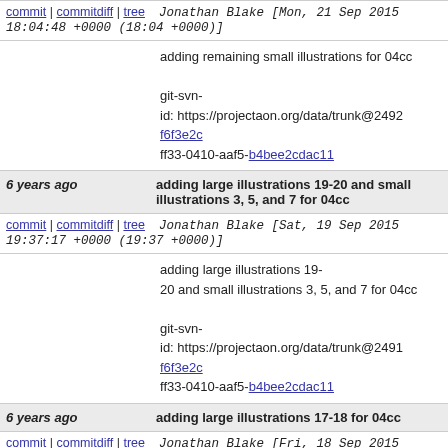commit | commitdiff | tree   Jonathan Blake [Mon, 21 Sep 2015 18:04:48 +0000 (18:04 +0000)]
adding remaining small illustrations for 04cc

git-svn-id: https://projectaon.org/data/trunk@2492 f6f3e2c ff33-0410-aaf5-b4bee2cdac11
6 years ago   adding large illustrations 19-20 and small illustrations 3, 5, and 7 for 04cc
commit | commitdiff | tree   Jonathan Blake [Sat, 19 Sep 2015 19:37:17 +0000 (19:37 +0000)]
adding large illustrations 19-20 and small illustrations 3, 5, and 7 for 04cc

git-svn-id: https://projectaon.org/data/trunk@2491 f6f3e2c ff33-0410-aaf5-b4bee2cdac11
6 years ago   adding large illustrations 17-18 for 04cc
commit | commitdiff | tree   Jonathan Blake [Fri, 18 Sep 2015 18:56:51 +0000 (18:56 +0000)]
adding large illustrations 17-18 for 04cc